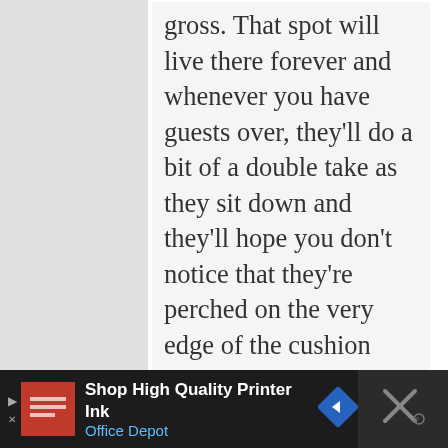gross. That spot will live there forever and whenever you have guests over, they'll do a bit of a double take as they sit down and they'll hope you don't notice that they're perched on the very edge of the cushion because they have no idea if that stain is from water or juice or pee or puke. And you'll laugh in embarrassment and tell them your kids always leave their water bottles laying around, but you'll also be remembering last
Shop High Quality Printer Ink  Office Depot